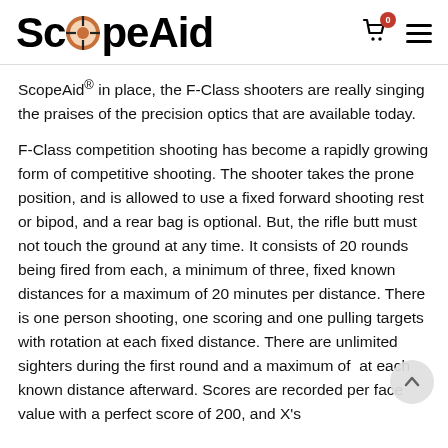ScopeAid
ScopeAid® in place, the F-Class shooters are really singing the praises of the precision optics that are available today.
F-Class competition shooting has become a rapidly growing form of competitive shooting. The shooter takes the prone position, and is allowed to use a fixed forward shooting rest or bipod, and a rear bag is optional. But, the rifle butt must not touch the ground at any time. It consists of 20 rounds being fired from each, a minimum of three, fixed known distances for a maximum of 20 minutes per distance. There is one person shooting, one scoring and one pulling targets with rotation at each fixed distance. There are unlimited sighters during the first round and a maximum of at each known distance afterward. Scores are recorded per face value with a perfect score of 200, and X's